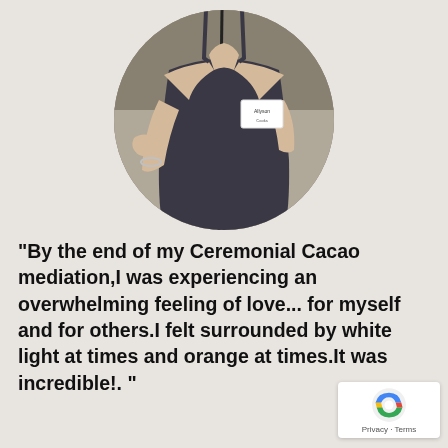[Figure (photo): Circular cropped photo of a woman in a dark tank top with a name badge, speaking into a microphone with hand raised, background shows stone architecture]
"By the end of my Ceremonial Cacao mediation,I was experiencing an overwhelming feeling of love... for myself and for others.I felt surrounded by white light at times and orange at times.It was incredible!. "
Al